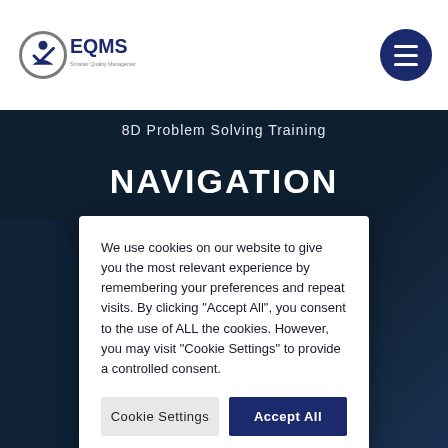[Figure (logo): EQMS logo with checkmark/person icon and text 'Smarter Quality Management Solutions']
[Figure (other): Hamburger menu button (three horizontal lines) in dark navy circle]
8D Problem Solving Training
NAVIGATION
We use cookies on our website to give you the most relevant experience by remembering your preferences and repeat visits. By clicking "Accept All", you consent to the use of ALL the cookies. However, you may visit "Cookie Settings" to provide a controlled consent.
Cookie Settings
Accept All